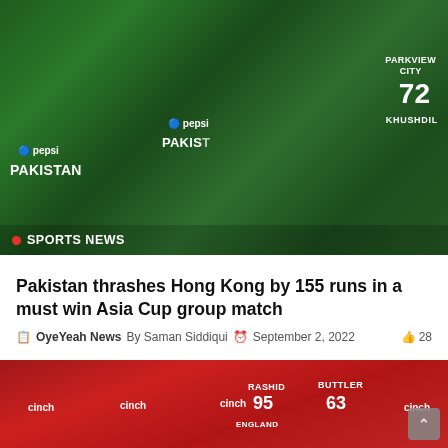[Figure (photo): Pakistan cricket team players in green jerseys celebrating on field, with Pepsi and Pakistan branding visible. SPORTS NEWS badge overlay at bottom left.]
Pakistan thrashes Hong Kong by 155 runs in a must win Asia Cup group match
OyeYeah News  By Saman Siddiqui  September 2, 2022  28
[Figure (photo): England cricket team players in red jerseys walking on field, with cinch sponsorship. Players include Rashid (95) and Buttler (63).]